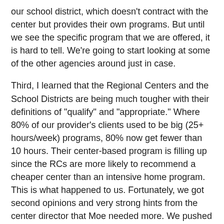our school district, which doesn't contract with the center but provides their own programs. But until we see the specific program that we are offered, it is hard to tell. We're going to start looking at some of the other agencies around just in case.
Third, I learned that the Regional Centers and the School Districts are being much tougher with their definitions of "qualify" and "appropriate." Where 80% of our provider's clients used to be big (25+ hours/week) programs, 80% now get fewer than 10 hours. Their center-based program is filling up since the RCs are more likely to recommend a cheaper center than an intensive home program. This is what happened to us. Fortunately, we got second opinions and very strong hints from the center director that Moe needed more. We pushed to revise our IFSP, and we got more. But not everyone knows enough to push for that.
Of course, providing fewer services during early intervention is only going to cost the state more in the future. Kids who don't get services early on are more likely to need more help later, continued services into high school and adulthood,